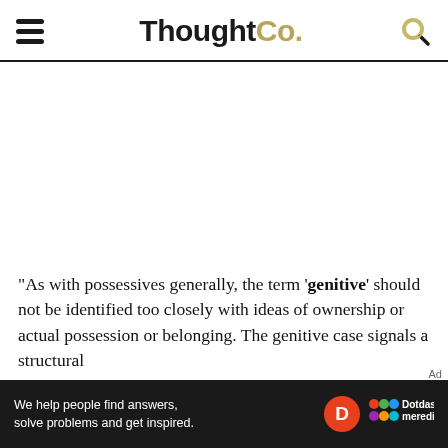ThoughtCo.
"As with possessives generally, the term 'genitive' should not be identified too closely with ideas of ownership or actual possession or belonging. The genitive case signals a structural grammatical relationship between a noun and a noun phrase—
[Figure (other): Dotdash Meredith advertisement banner: 'We help people find answers, solve problems and get inspired.' with Dotdash Meredith logo]